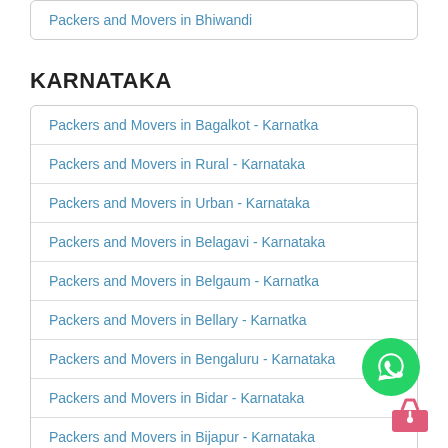Packers and Movers in Bhiwandi
KARNATAKA
Packers and Movers in Bagalkot - Karnatka
Packers and Movers in Rural - Karnataka
Packers and Movers in Urban - Karnataka
Packers and Movers in Belagavi - Karnataka
Packers and Movers in Belgaum - Karnatka
Packers and Movers in Bellary - Karnatka
Packers and Movers in Bengaluru - Karnataka
Packers and Movers in Bidar - Karnataka
Packers and Movers in Bijapur - Karnataka